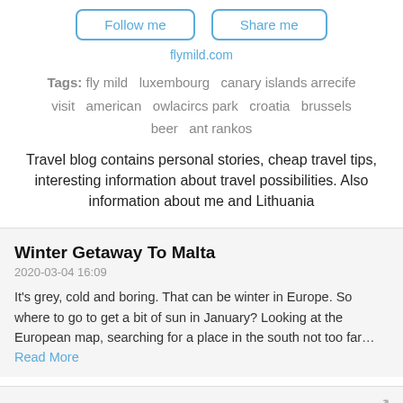Follow me | Share me
flymild.com
Tags: fly mild   luxembourg   canary islands arrecife   visit   american   owlacircs park   croatia   brussels   beer   ant rankos
Travel blog contains personal stories, cheap travel tips, interesting information about travel possibilities. Also information about me and Lithuania
Winter Getaway To Malta
2020-03-04 16:09
It's grey, cold and boring. That can be winter in Europe. So where to go to get a bit of sun in January? Looking at the European map, searching for a place in the south not too far… Read More